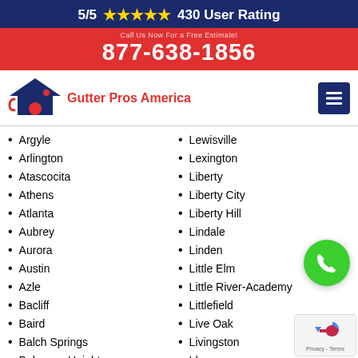5/5 ★★★★★ 430 User Rating
877-638-1856
[Figure (logo): Gutter Pros America logo with house icon]
Argyle
Lewisville
Arlington
Lexington
Atascocita
Liberty
Athens
Liberty City
Atlanta
Liberty Hill
Aubrey
Lindale
Aurora
Linden
Austin
Little Elm
Azle
Little River-Academy
Bacliff
Littlefield
Baird
Live Oak
Balch Springs
Livingston
Balcones Heights
Llano